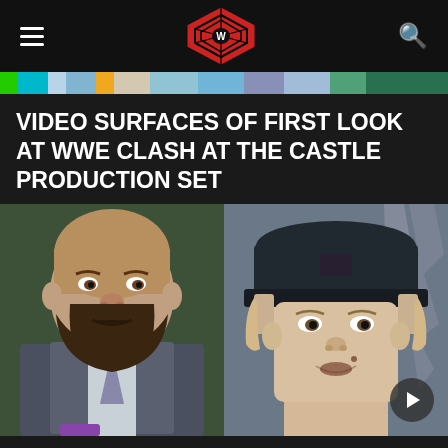Wrestling news site header with hamburger menu, logo (wrestling ring icon), and search icon
[Figure (infographic): Colorful ticker/navigation bar with various colored segments]
VIDEO SURFACES OF FIRST LOOK AT WWE CLASH AT THE CASTLE PRODUCTION SET
[Figure (photo): Composite image showing two people side by side: on the left, a large bearded man with an open mouth (Triple H), on the right, a person wearing a dark baseball cap (Rhea Ripley). There is a play button overlay in the bottom right corner.]